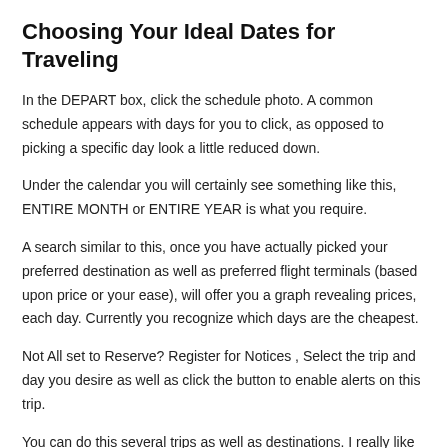Choosing Your Ideal Dates for Traveling
In the DEPART box, click the schedule photo. A common schedule appears with days for you to click, as opposed to picking a specific day look a little reduced down.
Under the calendar you will certainly see something like this, ENTIRE MONTH or ENTIRE YEAR is what you require.
A search similar to this, once you have actually picked your preferred destination as well as preferred flight terminals (based upon price or your ease), will offer you a graph revealing prices, each day. Currently you recognize which days are the cheapest.
Not All set to Reserve? Register for Notices , Select the trip and day you desire as well as click the button to enable alerts on this trip.
You can do this several trips as well as destinations. I really like